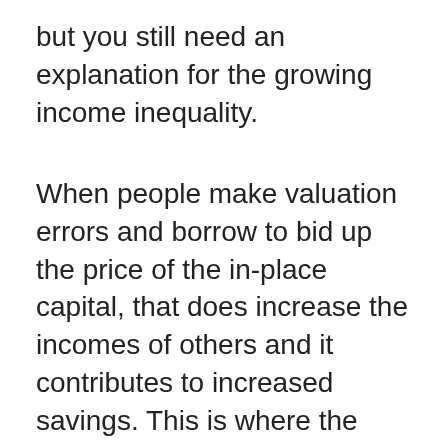but you still need an explanation for the growing income inequality.
When people make valuation errors and borrow to bid up the price of the in-place capital, that does increase the incomes of others and it contributes to increased savings. This is where the inequality issues kick in. If everyone in the economy owned a house worth X, with X of debt owed, and if everyone bid up the house of their neighbors, borrowing 2X to buy their neighbor's house, and selling their own house for